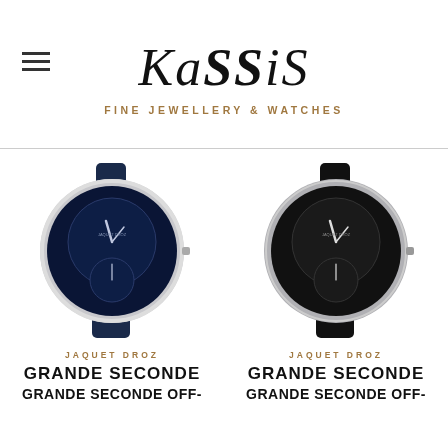KaSSiS — FINE JEWELLERY & WATCHES
[Figure (photo): Blue dial Jaquet Droz Grande Seconde watch with diamond bezel and navy blue leather strap]
JAQUET DROZ
GRANDE SECONDE
GRANDE SECONDE OFF-
[Figure (photo): Black dial Jaquet Droz Grande Seconde watch with black leather strap]
JAQUET DROZ
GRANDE SECONDE
GRANDE SECONDE OFF-